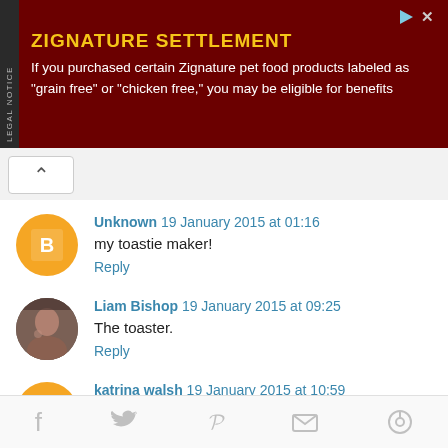[Figure (other): Advertisement banner for Zignature Settlement with dark red background. Legal notice sidebar on left. Text reads: ZIGNATURE SETTLEMENT. If you purchased certain Zignature pet food products labeled as "grain free" or "chicken free," you may be eligible for benefits]
Unknown  19 January 2015 at 01:16
my toastie maker!
Reply
Liam Bishop  19 January 2015 at 09:25
The toaster.
Reply
katrina walsh  19 January 2015 at 10:59
Electric can opener, I hate the manual ones!
[Figure (other): Social share bar with icons for Facebook, Twitter, Pinterest, Email, and another share option]